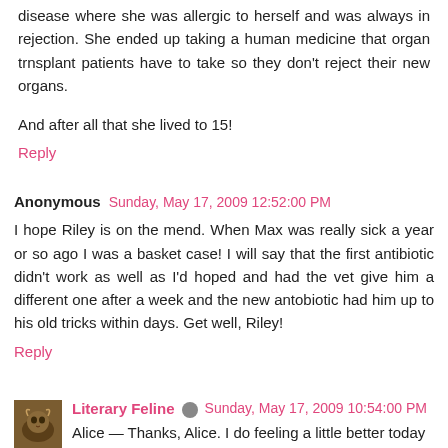disease where she was allergic to herself and was always in rejection. She ended up taking a human medicine that organ trnsplant patients have to take so they don't reject their new organs.
And after all that she lived to 15!
Reply
Anonymous  Sunday, May 17, 2009 12:52:00 PM
I hope Riley is on the mend. When Max was really sick a year or so ago I was a basket case! I will say that the first antibiotic didn't work as well as I'd hoped and had the vet give him a different one after a week and the new antobiotic had him up to his old tricks within days. Get well, Riley!
Reply
Literary Feline  Sunday, May 17, 2009 10:54:00 PM
Alice — Thanks, Alice. I do feeling a little better today